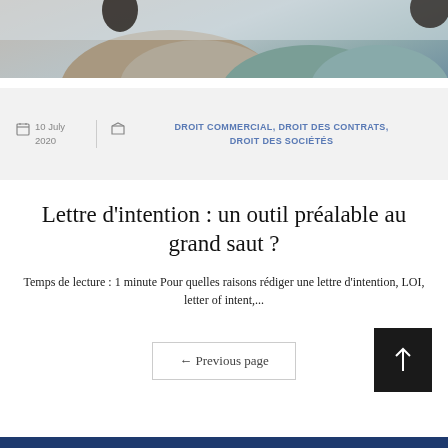[Figure (photo): Top portion of an outdoor photo showing rocks and greenery, cropped at the bottom]
10 July 2020   DROIT COMMERCIAL, DROIT DES CONTRATS, DROIT DES SOCIÉTÉS
Lettre d'intention : un outil préalable au grand saut ?
Temps de lecture : 1 minute Pour quelles raisons rédiger une lettre d'intention, LOI, letter of intent,...
← Previous page